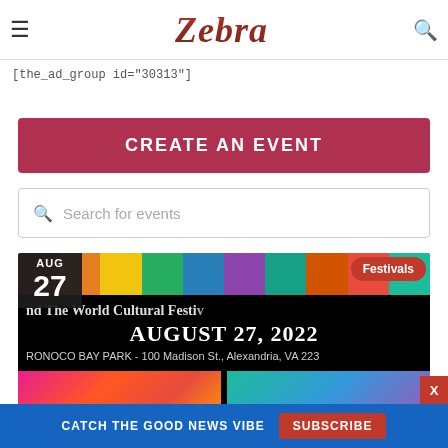Zebra (logo) — members
[the_ad_group id="30313"]
CREATE AN EVENT
Search for events
[Figure (photo): Around The World Cultural Food Festival event banner: AUG 27, Festivals tag, colorful flags at top, text reading 'Around The World Cultural Festi...' AUGUST 27, 2022, RONOCO BAY PARK - 100 Madison St., Alexandria, VA 223, with crowd photos at bottom]
Around The World Cultural Food Festival
CATCH THE GOOD NEWS VIBE  SUBSCRIBE  X